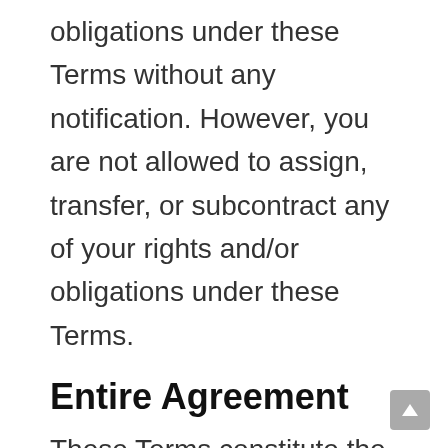obligations under these Terms without any notification. However, you are not allowed to assign, transfer, or subcontract any of your rights and/or obligations under these Terms.
Entire Agreement
These Terms constitute the entire agreement between DrumSector.com and you in relation to your use of this Website, and supersede all prior agreements and understandings.